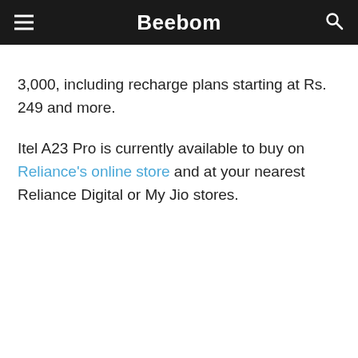Beebom
3,000, including recharge plans starting at Rs. 249 and more.
Itel A23 Pro is currently available to buy on Reliance’s online store and at your nearest Reliance Digital or My Jio stores.